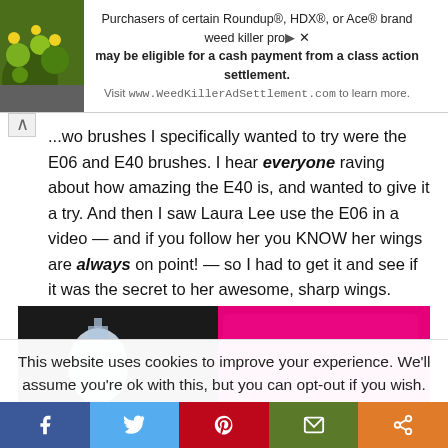[Figure (advertisement): Ad banner with plant background image and text about Roundup weed killer class action settlement]
...wo brushes I specifically wanted to try were the E06 and E40 brushes. I hear everyone raving about how amazing the E40 is, and wanted to give it a try. And then I saw Laura Lee use the E06 in a video — and if you follow her you KNOW her wings are always on point! — so I had to get it and see if it was the secret to her awesome, sharp wings.
[Figure (photo): Photo showing makeup brushes in hot pink packaging with black bow decoration]
This website uses cookies to improve your experience. We'll assume you're ok with this, but you can opt-out if you wish.
[Figure (infographic): Social share bar with Facebook, Twitter, Pinterest, Email, and Share buttons]